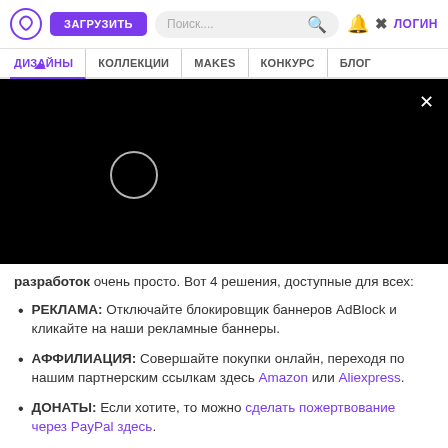ЗАГРУЗИТЬ | Поиск... | ЛОГИН | ДИЗАЙНЫ | КОЛЛЕКЦИИ | MAKES | КОНКУРС | БЛОГ
[Figure (screenshot): Black video loading overlay with circular loading spinner and a close (×) button in the top-right corner]
разработок очень просто. Вот 4 решения, доступные для всех:
РЕКЛАМА: Отключайте блокировщик баннеров AdBlock и кликайте на наши рекламные баннеры.
АФФИЛИАЦИЯ: Совершайте покупки онлайн, переходя по нашим партнерским ссылкам здесь Amazon или Aliexpress.
ДОНАТЫ: Если хотите, то можно сделать пожертвование через PayPal здесь.
ПРИГЛАШЕНИЕ ДРУЗЕЙ: П...